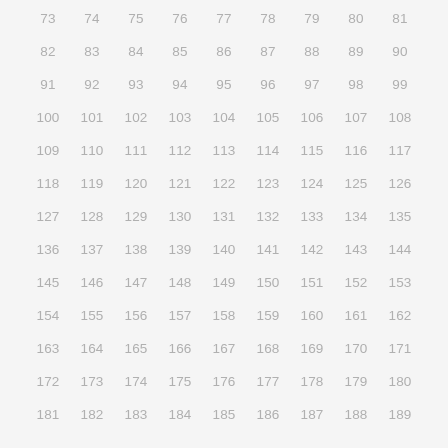73 74 75 76 77 78 79 80 81 82 83 84 85 86 87 88 89 90 91 92 93 94 95 96 97 98 99 100 101 102 103 104 105 106 107 108 109 110 111 112 113 114 115 116 117 118 119 120 121 122 123 124 125 126 127 128 129 130 131 132 133 134 135 136 137 138 139 140 141 142 143 144 145 146 147 148 149 150 151 152 153 154 155 156 157 158 159 160 161 162 163 164 165 166 167 168 169 170 171 172 173 174 175 176 177 178 179 180 181 182 183 184 185 186 187 188 189